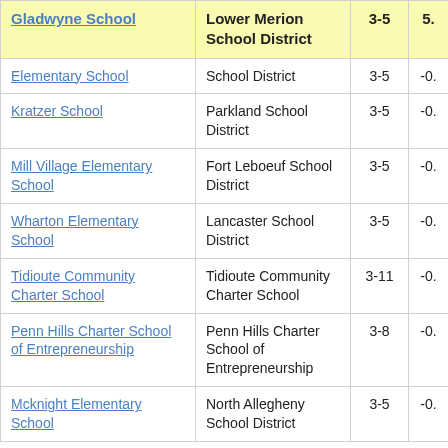| School | District | Grades | Value |
| --- | --- | --- | --- |
| Gladwyne School | Lower Merion School District | 3-5 | 5. |
| Elementary School | School District | 3-5 | -0. |
| Kratzer School | Parkland School District | 3-5 | -0. |
| Mill Village Elementary School | Fort Leboeuf School District | 3-5 | -0. |
| Wharton Elementary School | Lancaster School District | 3-5 | -0. |
| Tidioute Community Charter School | Tidioute Community Charter School | 3-11 | -0. |
| Penn Hills Charter School of Entrepreneurship | Penn Hills Charter School of Entrepreneurship | 3-8 | -0. |
| Mcknight Elementary School | North Allegheny School District | 3-5 | -0. |